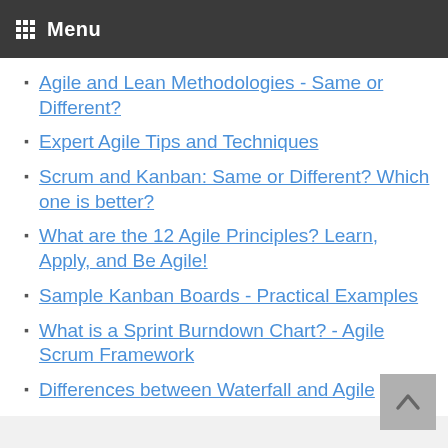Menu
Agile and Lean Methodologies - Same or Different?
Expert Agile Tips and Techniques
Scrum and Kanban: Same or Different? Which one is better?
What are the 12 Agile Principles? Learn, Apply, and Be Agile!
Sample Kanban Boards - Practical Examples
What is a Sprint Burndown Chart? - Agile Scrum Framework
Differences between Waterfall and Agile